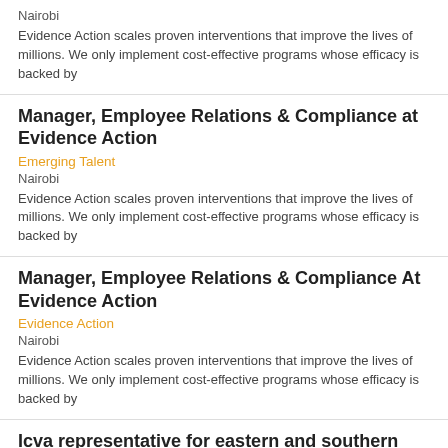Nairobi
Evidence Action scales proven interventions that improve the lives of millions. We only implement cost-effective programs whose efficacy is backed by
Manager, Employee Relations & Compliance at Evidence Action
Emerging Talent
Nairobi
Evidence Action scales proven interventions that improve the lives of millions. We only implement cost-effective programs whose efficacy is backed by
Manager, Employee Relations & Compliance At Evidence Action
Evidence Action
Nairobi
Evidence Action scales proven interventions that improve the lives of millions. We only implement cost-effective programs whose efficacy is backed by
Icva representative for eastern and southern Africa
International Council Of Voluntary Agencies
Nairobi